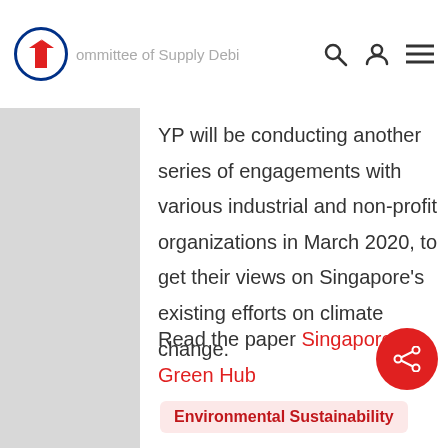Committee of Supply Debate
YP will be conducting another series of engagements with various industrial and non-profit organizations in March 2020, to get their views on Singapore’s existing efforts on climate change.
Read the paper Singapore: A Green Hub
Environmental Sustainability